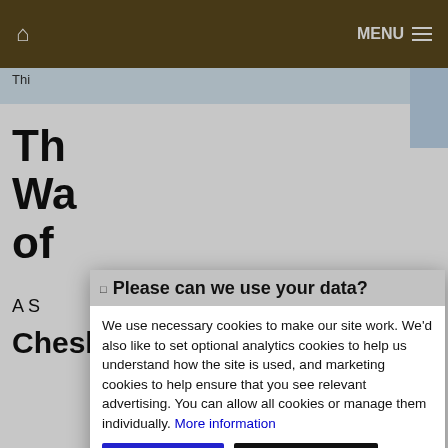Home | MENU
Thi
Th
Wa
of
A S
Cheshire West and Chester
[Figure (screenshot): Cookie consent modal dialog with title 'Please can we use your data?' on a grey header. Body text explains use of necessary, analytics, and marketing cookies. Contains a 'More information' link in blue, and two buttons: 'Accept Cookies' (blue) and 'Customise Cookies' (black).]